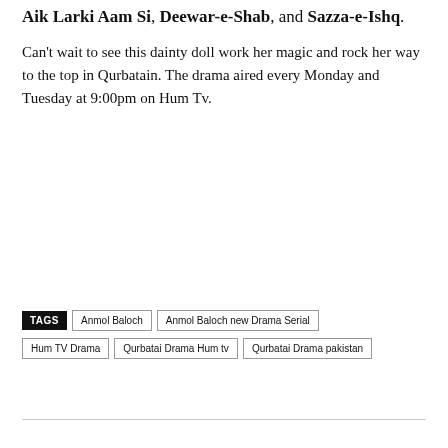Aik Larki Aam Si, Deewar-e-Shab, and Sazza-e-Ishq.
Can't wait to see this dainty doll work her magic and rock her way to the top in Qurbatain. The drama aired every Monday and Tuesday at 9:00pm on Hum Tv.
TAGS  Anmol Baloch  Anmol Baloch new Drama Serial  Hum TV Drama  Qurbatai Drama Hum tv  Qurbatai Drama pakistan